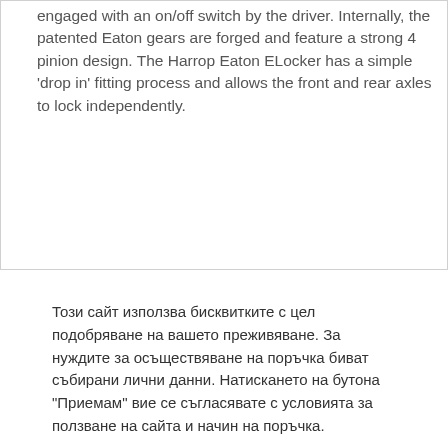engaged with an on/off switch by the driver. Internally, the patented Eaton gears are forged and feature a strong 4 pinion design. The Harrop Eaton ELocker has a simple 'drop in' fitting process and allows the front and rear axles to lock independently.
Този сайт използва бисквитките с цел подобряване на вашето преживяване. За нуждите за осъществяване на поръчка биват събирани лични данни. Натискането на бутона "Приемам" вие се съгласявате с условията за ползване на сайта и начин на поръчка.
Научете повече
Приемам